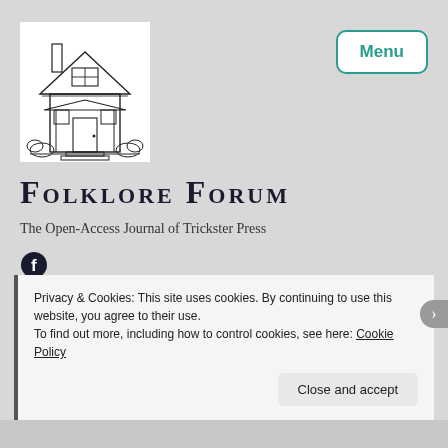[Figure (illustration): Line drawing of a craftsman-style house with porch, steps, and surrounding bushes — the Folklore Forum logo]
Folklore Forum
The Open-Access Journal of Trickster Press
[Figure (logo): Facebook circular logo icon]
Privacy & Cookies: This site uses cookies. By continuing to use this website, you agree to their use.
To find out more, including how to control cookies, see here: Cookie Policy
Close and accept